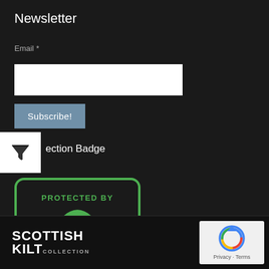Newsletter
Email *
Subscribe!
ection Badge
[Figure (logo): DMCA Protected By badge — green bordered box with green padlock icon and DMCA text in green on dark background]
[Figure (logo): Scottish Kilt Collection logo — white bold text on dark background]
[Figure (logo): Google reCAPTCHA badge — circular arrow icon with Privacy and Terms text]